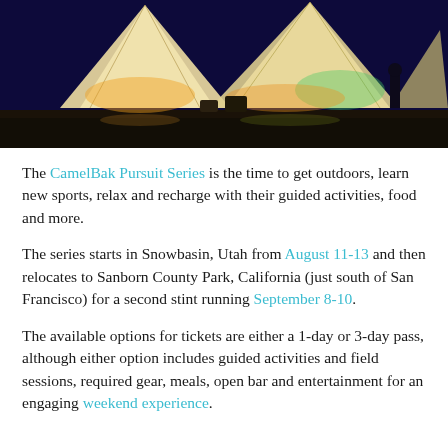[Figure (photo): Illuminated large white tent/tipi structures at night against a dark blue sky, with a silhouette of a person standing to the right. Warm yellow and green lights glow on the tents from below.]
The CamelBak Pursuit Series is the time to get outdoors, learn new sports, relax and recharge with their guided activities, food and more.
The series starts in Snowbasin, Utah from August 11-13 and then relocates to Sanborn County Park, California (just south of San Francisco) for a second stint running September 8-10.
The available options for tickets are either a 1-day or 3-day pass, although either option includes guided activities and field sessions, required gear, meals, open bar and entertainment for an engaging weekend experience.